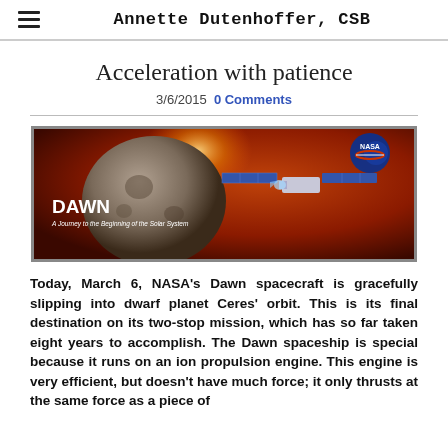Annette Dutenhoffer, CSB
Acceleration with patience
3/6/2015  0 Comments
[Figure (photo): NASA DAWN spacecraft banner image showing a rocky asteroid/dwarf planet and a satellite with solar panels against a reddish space background. Text reads 'DAWN - A Journey to the Beginning of the Solar System' with NASA logo.]
Today, March 6, NASA's Dawn spacecraft is gracefully slipping into dwarf planet Ceres' orbit. This is its final destination on its two-stop mission, which has so far taken eight years to accomplish. The Dawn spaceship is special because it runs on an ion propulsion engine. This engine is very efficient, but doesn't have much force; it only thrusts at the same force as a piece of